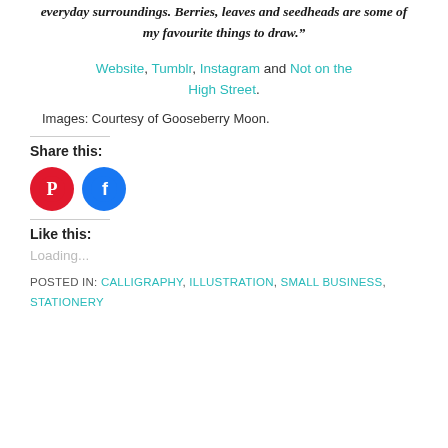everyday surroundings. Berries, leaves and seedheads are some of my favourite things to draw."
Website, Tumblr, Instagram and Not on the High Street.
Images: Courtesy of Gooseberry Moon.
Share this:
[Figure (other): Pinterest and Facebook share icon buttons (red circle with Pinterest P logo, blue circle with Facebook f logo)]
Like this:
Loading...
POSTED IN: CALLIGRAPHY, ILLUSTRATION, SMALL BUSINESS, STATIONERY